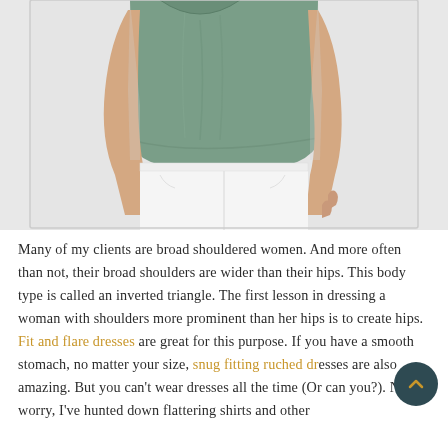[Figure (photo): Woman's torso wearing a sage green loose t-shirt tucked into white skinny jeans, grey background, hands at sides]
Many of my clients are broad shouldered women. And more often than not, their broad shoulders are wider than their hips. This body type is called an inverted triangle. The first lesson in dressing a woman with shoulders more prominent than her hips is to create hips. Fit and flare dresses are great for this purpose. If you have a smooth stomach, no matter your size, snug fitting ruched dresses are also amazing. But you can't wear dresses all the time (Or can you?). Not to worry, I've hunted down flattering shirts and other